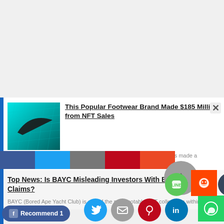[Figure (photo): Nike logo on teal/cyan background with reflective surfaces]
This Popular Footwear Brand Made $185 Million from NFT Sales
As per the latest reports, global footwear giant Nike (NYSE: NKE) has made a staggering…
Top News: Is BAYC Misleading Investors With Bogus NFT IP Claims?
BAYC (Bored Ape Yacht Club) is one of the most notable NFT collections within the…